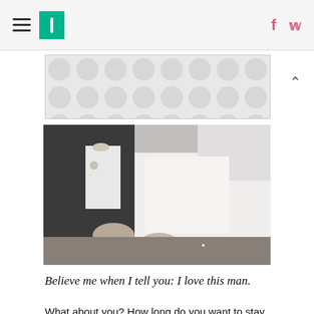HuffPost navigation with hamburger menu, logo, Facebook and Twitter icons
[Figure (photo): Advertisement banner with polka dot grey/white pattern]
[Figure (photo): Black and white wedding photo showing a bride in a white lace dress and groom in a tuxedo with bow tie, arms linked together]
Believe me when I tell you: I love this man.
What about you? How long do you want to stay married? Do you have any good tips for staying together? Any of the above that you disagree with?